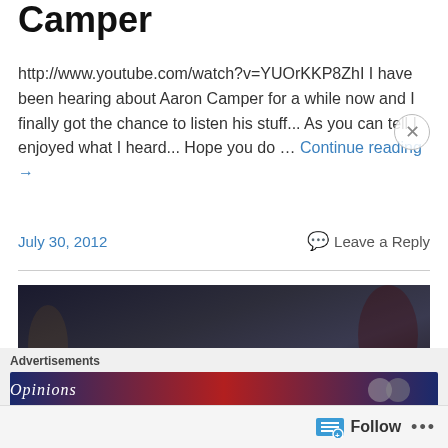Camper
http://www.youtube.com/watch?v=YUOrKKP8ZhI I have been hearing about Aaron Camper for a while now and I finally got the chance to listen his stuff... As you can tell I enjoyed what I heard... Hope you do … Continue reading →
July 30, 2012
Leave a Reply
[Figure (photo): A dark photograph showing a black fabric banner with decorative script text and light streaks, displayed against a dark background.]
Advertisements
[Figure (screenshot): Advertisement banner showing 'Opinions' text on dark gradient background]
Follow